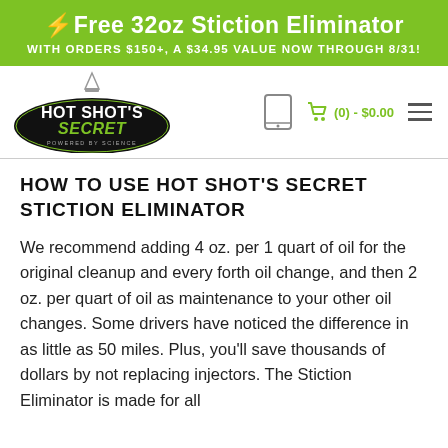⚡ Free 32oz Stiction Eliminator WITH ORDERS $150+, A $34.95 VALUE NOW THROUGH 8/31!
[Figure (logo): Hot Shot's Secret logo - black oval with green text 'HOT SHOT'S SECRET POWERED BY SCIENCE' and a flask/beaker icon above]
HOW TO USE HOT SHOT'S SECRET STICTION ELIMINATOR
We recommend adding 4 oz. per 1 quart of oil for the original cleanup and every forth oil change, and then 2 oz. per quart of oil as maintenance to your other oil changes. Some drivers have noticed the difference in as little as 50 miles. Plus, you'll save thousands of dollars by not replacing injectors. The Stiction Eliminator is made for all